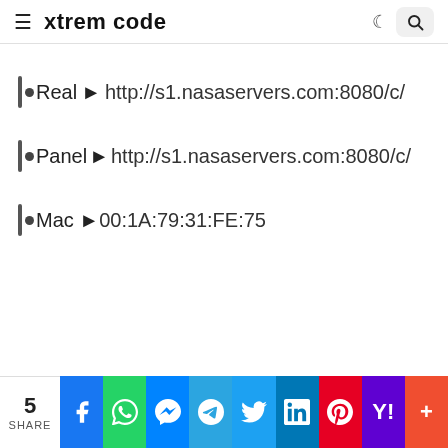xtrem code
●Real ▶ http://s1.nasaservers.com:8080/c/
●Panel▶ http://s1.nasaservers.com:8080/c/
●Mac ▶00:1A:79:31:FE:75
5 SHARE | Facebook | WhatsApp | Messenger | Telegram | Twitter | LinkedIn | Pinterest | Yahoo | More